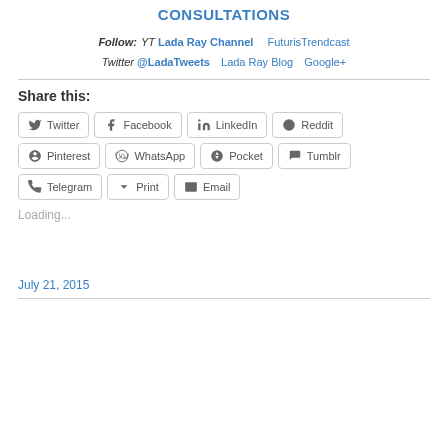CONSULTATIONS
Follow: YT Lada Ray Channel   FuturisTrendcast  Twitter @LadaTweets   Lada Ray Blog   Google+
Share this:
Twitter  Facebook  LinkedIn  Reddit  Pinterest  WhatsApp  Pocket  Tumblr  Telegram  Print  Email
Loading...
July 21, 2015